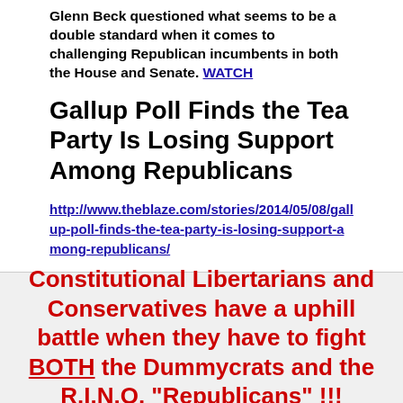Glenn Beck questioned what seems to be a double standard when it comes to challenging Republican incumbents in both the House and Senate. WATCH
Gallup Poll Finds the Tea Party Is Losing Support Among Republicans
http://www.theblaze.com/stories/2014/05/08/gallup-poll-finds-the-tea-party-is-losing-support-among-republicans/
Constitutional Libertarians and Conservatives have a uphill battle when they have to fight BOTH the Dummycrats and the R.I.N.O. "Republicans" !!!